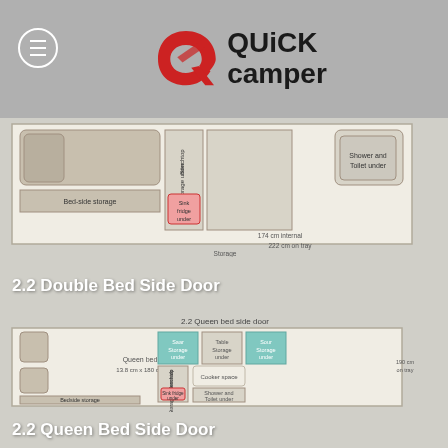[Figure (logo): QuickCamper logo with red stylized Q and bold text]
[Figure (schematic): 2.2 Double Bed Side Door floor plan showing bed, storage areas, sink/fridge, shower and toilet]
2.2 Double Bed Side Door
[Figure (schematic): 2.2 Queen Bed Side Door floor plan showing queen bed 13.8cm x 180cm, storage areas, sink/fridge, shower and toilet, 190cm on tray measurement]
2.2 Queen Bed Side Door